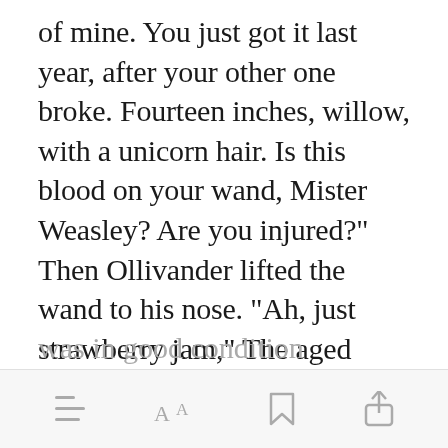of mine. You just got it last year, after your other one broke. Fourteen inches, willow, with a unicorn hair. Is this blood on your wand, Mister Weasley? Are you injured?" Then Ollivander lifted the wand to his nose. "Ah, just strawberry jam," The aged wand maker gave the wand a quick wave and a fountain of water came pouring out. He handed the wand back to [Open in app] ouncing it was in good condition
[menu] [font] [bookmark] [share]